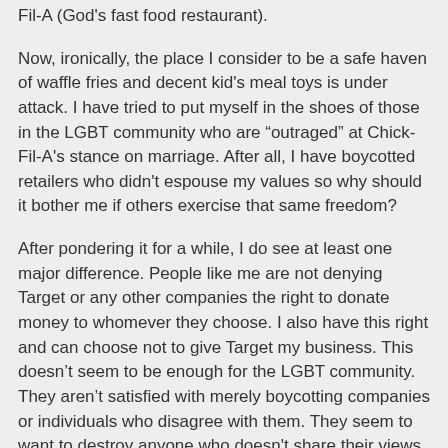Fil-A (God's fast food restaurant).
Now, ironically, the place I consider to be a safe haven of waffle fries and decent kid's meal toys is under attack. I have tried to put myself in the shoes of those in the LGBT community who are “outraged” at Chick-Fil-A's stance on marriage. After all, I have boycotted retailers who didn't espouse my values so why should it bother me if others exercise that same freedom?
After pondering it for a while, I do see at least one major difference. People like me are not denying Target or any other companies the right to donate money to whomever they choose. I also have this right and can choose not to give Target my business. This doesn’t seem to be enough for the LGBT community. They aren’t satisfied with merely boycotting companies or individuals who disagree with them. They seem to want to destroy anyone who doesn't share their views. Just ask Brad Pitt's mom. What happened to freedom? What happened to individual choice?
So let's play fair here, shall we? While I ask others to support the rights of those with whom they disagree, I will support Target's right to support gay marriage, even though I would rather they respect their election of affordable...